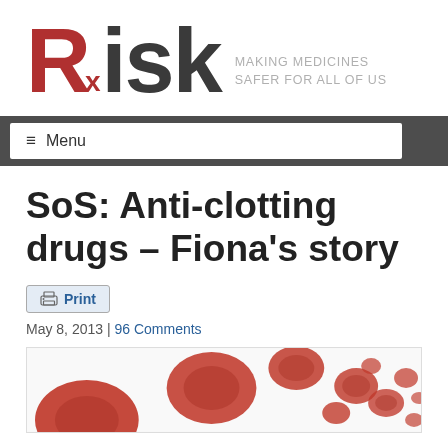[Figure (logo): RxRisk logo — large red bold R with subscript x, dark bold 'isk', tagline 'MAKING MEDICINES SAFER FOR ALL OF US']
≡ Menu
SoS: Anti-clotting drugs – Fiona's story
Print
May 8, 2013 | 96 Comments
[Figure (illustration): Red blood cells (erythrocytes) 3D illustration on white background, showing round and irregular shaped red blood cells]